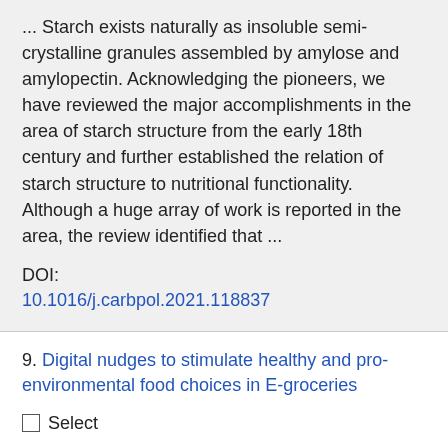... Starch exists naturally as insoluble semi-crystalline granules assembled by amylose and amylopectin. Acknowledging the pioneers, we have reviewed the major accomplishments in the area of starch structure from the early 18th century and further established the relation of starch structure to nutritional functionality. Although a huge array of work is reported in the area, the review identified that ...
DOI: 10.1016/j.carbpol.2021.118837
9. Digital nudges to stimulate healthy and pro-environmental food choices in E-groceries
Select
Author:
Michiel De Bauw; Lucia Segovia De La Revilla; Veerle Poppe; Christophe Matthys; Liesbet Vranken
Source: